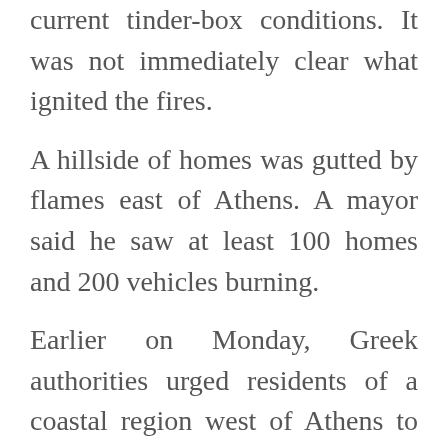current tinder-box conditions. It was not immediately clear what ignited the fires.
A hillside of homes was gutted by flames east of Athens. A mayor said he saw at least 100 homes and 200 vehicles burning.
Earlier on Monday, Greek authorities urged residents of a coastal region west of Athens to abandon their homes as another wildfire burned ferociously, closing one of Greece's busiest motorways, halting train links and sending plumes of smoke over the